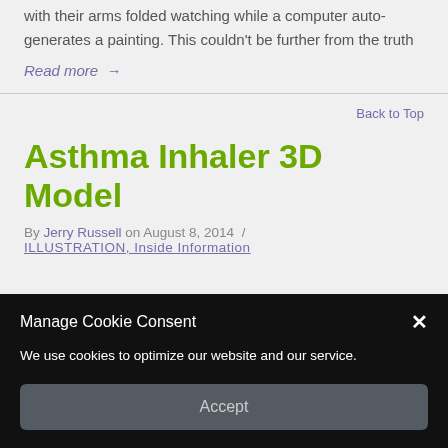with their arms folded watching while a computer auto-generates a painting. This couldn't be further from the truth
Read more →
Back to Top
Asthma Inhaler 3D Model
By Jerry Russell on August 8, 2014 /
ILLUSTRATION, Inside Information
Manage Cookie Consent
We use cookies to optimize our website and our service.
Accept